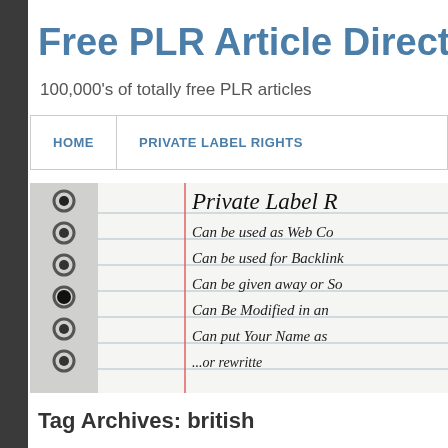Free PLR Article Directo
100,000's of totally free PLR articles
HOME | PRIVATE LABEL RIGHTS
[Figure (photo): A spiral notebook with handwritten text reading 'Private Label R...' and bullet points: 'Can be used as Web Co...', 'Can be used for Backlink...', 'Can be given away or So...', 'Can Be Modified in an...', 'Can put Your Name as...', '...or rewritte...']
Tag Archives: british